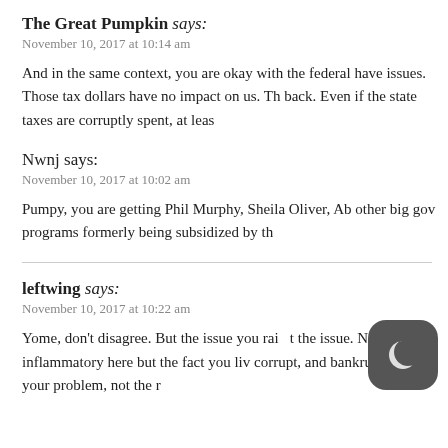The Great Pumpkin says:
November 10, 2017 at 10:14 am
And in the same context, you are okay with the federal have issues. Those tax dollars have no impact on us. Th back. Even if the state taxes are corruptly spent, at leas
Nwnj says:
November 10, 2017 at 10:02 am
Pumpy, you are getting Phil Murphy, Sheila Oliver, Ab other big gov programs formerly being subsidized by th
leftwing says:
November 10, 2017 at 10:22 am
Yome, don't disagree. But the issue you rai t the issue. Not being inflammatory here but the fact you liv corrupt, and bankrupt states is your problem, not the r